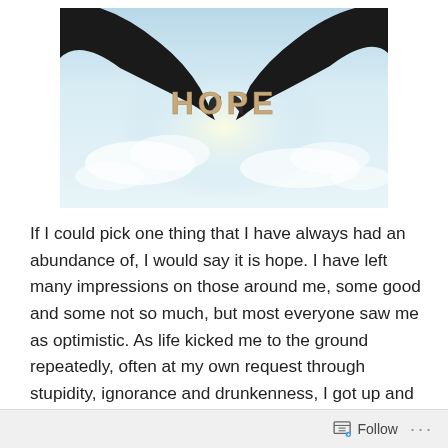[Figure (photo): Two silhouetted hands holding up cut-out letters spelling HOPE against a bright sky with clouds]
If I could pick one thing that I have always had an abundance of, I would say it is hope. I have left many impressions on those around me, some good and some not so much, but most everyone saw me as optimistic. As life kicked me to the ground repeatedly, often at my own request through stupidity, ignorance and drunkenness, I got up and dusted myself off and looked to tomorrow to be a better day. It wasn't forced, it was just how I was. My glass, usually
Follow ...